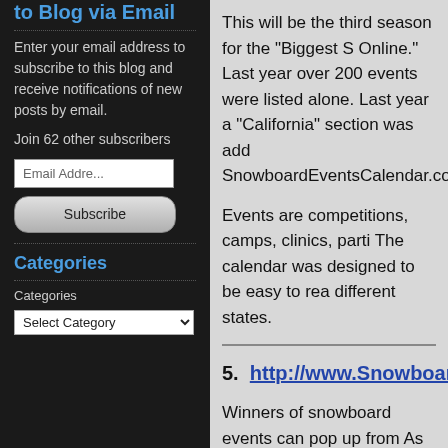to Blog via Email
Enter your email address to subscribe to this blog and receive notifications of new posts by email.
Join 62 other subscribers
Email Address
Subscribe
Categories
Categories
This will be the third season for the "Biggest S Online." Last year over 200 events were listed alone. Last year a "California" section was added SnowboardEventsCalendar.com.
Events are competitions, camps, clinics, parties. The calendar was designed to be easy to read different states.
5.  http://www.SnowboardProFiles.com
Winners of snowboard events can pop up from As a journalist covering a snowboard event, background info on an upstart competitor, and This happened to me at the US Open last win